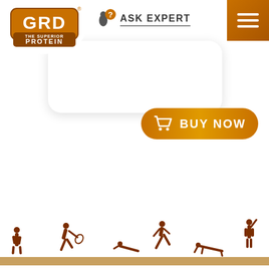[Figure (logo): GRD The Superior Protein logo — brown/gold block letters with decorative border]
[Figure (infographic): Ask Expert icon with person silhouette and question mark bubble]
ASK EXPERT
[Figure (infographic): Hamburger menu icon (three white horizontal lines) on brown/gold gradient background]
[Figure (infographic): BUY NOW button with shopping cart icon on brown/gold gradient pill shape]
[Figure (illustration): Bottom silhouette illustration showing multiple human figures in various athletic poses (standing, playing tennis, stretching, running, doing push-ups) on a tan ground line]